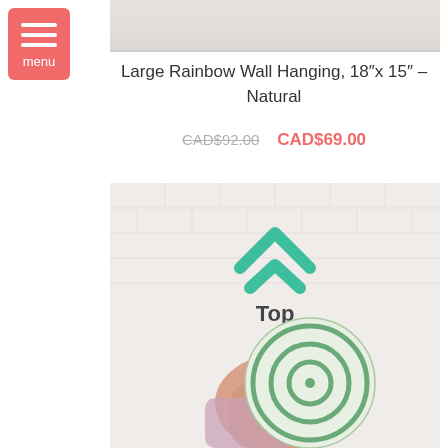[Figure (screenshot): Top product image strip showing a partial view of a white brick wall background]
Large Rainbow Wall Hanging, 18"x 15" – Natural
CAD$92.00  CAD$69.00
[Figure (photo): Product photo showing a hand holding a circular woven basket/bowl with green and white spiral pattern against a white brick wall background, with a teal chevron arrow pointing up and the word 'Top' below it]